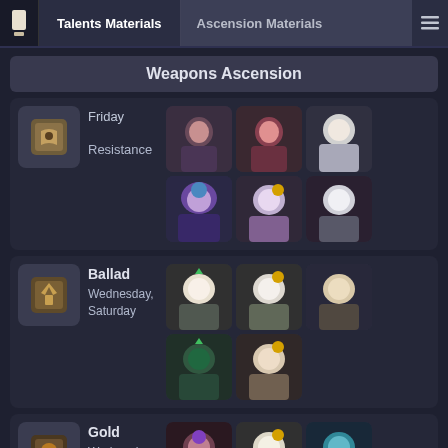Talents Materials | Ascension Materials
Weapons Ascension
Resistance  Friday
[Figure (illustration): Grid of character portrait icons for Resistance talent book (Friday)]
Ballad  Wednesday, Saturday
[Figure (illustration): Grid of character portrait icons for Ballad talent book (Wednesday, Saturday)]
Gold  Wednesday, Saturday
[Figure (illustration): Grid of character portrait icons for Gold talent book (Wednesday, Saturday)]